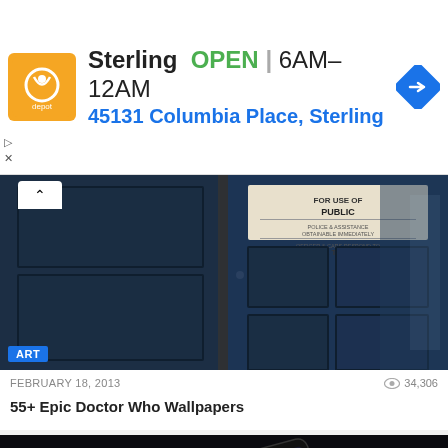[Figure (infographic): Advertisement banner for Sterling showing a logo, OPEN status, hours 6AM-12AM, address 45131 Columbia Place Sterling, and a navigation arrow icon]
[Figure (photo): Photo of a TARDIS (Doctor Who blue police box) doors close-up with a FOR USE OF PUBLIC / PULL TO OPEN sign, dark blue panels]
ART
FEBRUARY 18, 2013   34,306
55+ Epic Doctor Who Wallpapers
[Figure (photo): Close-up photo of a smartphone with glowing pink/purple cables and colorful app icons on screen, dark background]